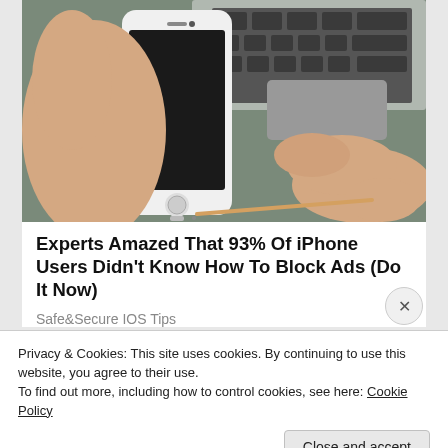[Figure (photo): A person's hands holding a white iPhone near a laptop keyboard, using a toothpick to clean or insert something into the charging port at the bottom of the phone.]
Experts Amazed That 93% Of iPhone Users Didn't Know How To Block Ads (Do It Now)
Safe&Secure IOS Tips
Privacy & Cookies: This site uses cookies. By continuing to use this website, you agree to their use.
To find out more, including how to control cookies, see here: Cookie Policy
Close and accept